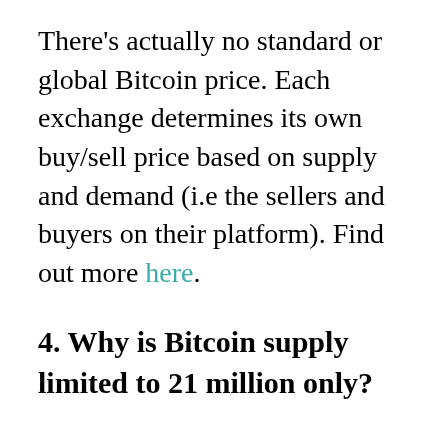There's actually no standard or global Bitcoin price. Each exchange determines its own buy/sell price based on supply and demand (i.e the sellers and buyers on their platform). Find out more here.
4. Why is Bitcoin supply limited to 21 million only?